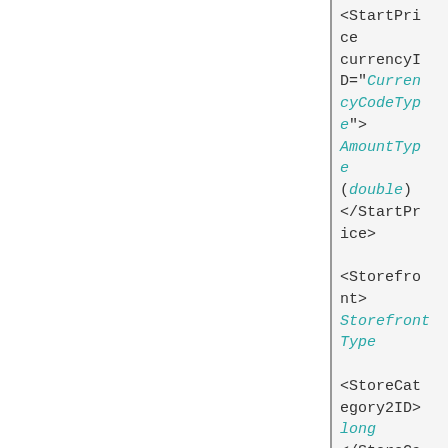<StartPrice currencyID="CurrencyCodeType">
AmountType
(double)
</StartPrice>

<Storefront>
StorefrontType

<StoreCategory2ID>
long
</StoreCategory2ID>